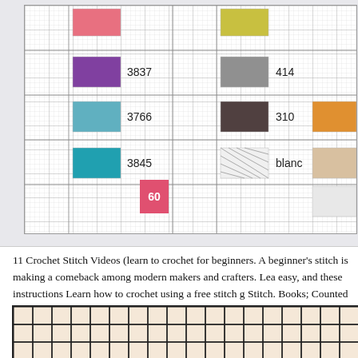[Figure (other): Cross-stitch pattern chart showing color swatches with DMC thread numbers: 3837, 414, 3766, 310, 3845, blanc. Grid pattern with colored squares and a page number badge showing 60.]
11 Crochet Stitch Videos (learn to crochet for beginners. A beginner's stitch is making a comeback among modern makers and crafters. Learn easy, and these instructions Learn how to crochet using a free stitch g Stitch. Books; Counted Cross-Stitch; Patterns. Beginner Plastic Canv
[Figure (other): Bottom portion showing a cross-stitch canvas grid with beige/tan colored cells arranged in a regular grid pattern with thick black border lines.]